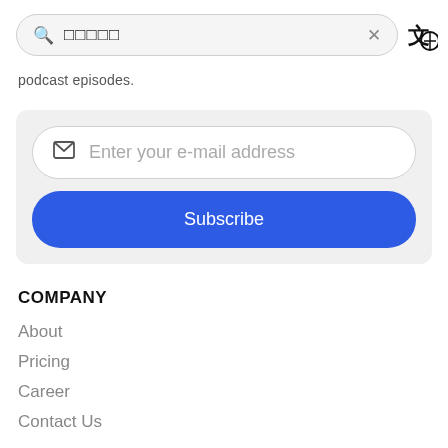[Figure (screenshot): Search bar with Japanese characters and a translate icon on the right]
podcast episodes.
[Figure (screenshot): Email subscription form with 'Enter your e-mail address' input and a blue 'Subscribe' button]
COMPANY
About
Pricing
Career
Contact Us